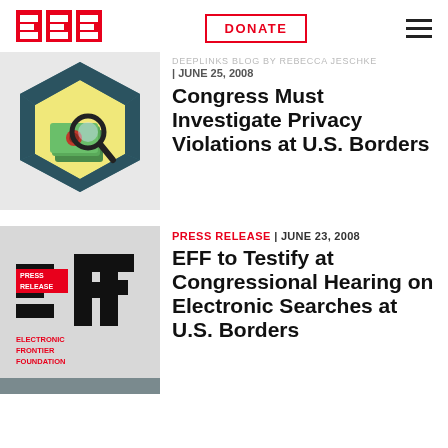EFF | DONATE | (menu)
[Figure (illustration): EFF blog article thumbnail: magnifying glass over money/documents on a teal hexagonal background]
DEEPLINKS BLOG BY REBECCA JESCHKE | JUNE 25, 2008
Congress Must Investigate Privacy Violations at U.S. Borders
[Figure (logo): EFF Press Release logo on grey background with black bar stripes]
PRESS RELEASE | JUNE 23, 2008
EFF to Testify at Congressional Hearing on Electronic Searches at U.S. Borders